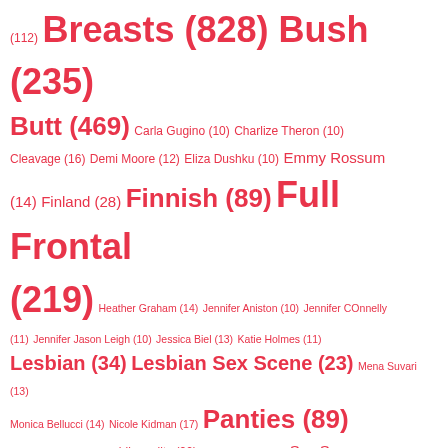(112) Breasts (828) Bush (235) Butt (469) Carla Gugino (10) Charlize Theron (10) Cleavage (16) Demi Moore (12) Eliza Dushku (10) Emmy Rossum (14) Finland (28) Finnish (89) Full Frontal (219) Heather Graham (14) Jennifer Aniston (10) Jennifer COnnelly (11) Jennifer Jason Leigh (10) Jessica Biel (13) Katie Holmes (11) Lesbian (34) Lesbian Sex Scene (23) Mena Suvari (13) Monica Bellucci (14) Nicole Kidman (17) Panties (89) Penelope Cruz (10) public nudity (20) Salma Hayek (11) Sex Scene (14) Sharon Stone (12) Shower scene (34) Sideboob (18) Skinny Dipping (14) Suomalainen (10) Suomi (31) Thong (13) Tits (820) Topless (853)